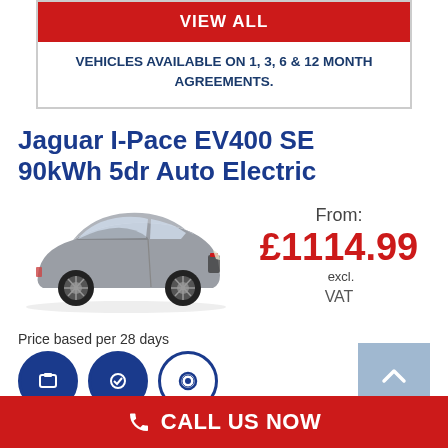VIEW ALL
VEHICLES AVAILABLE ON 1, 3, 6 & 12 MONTH AGREEMENTS.
Jaguar I-Pace EV400 SE 90kWh 5dr Auto Electric
[Figure (photo): Jaguar I-Pace silver/grey SUV electric vehicle, side-front view on white background]
From: £1114.99 excl. VAT
Price based per 28 days
CALL US NOW